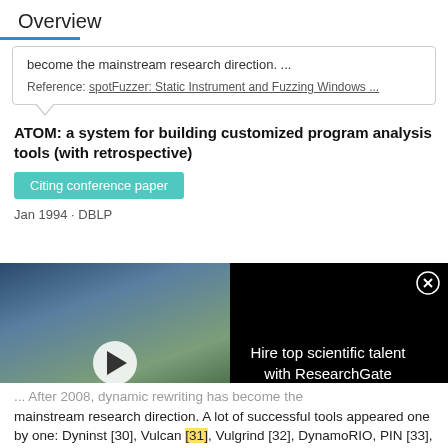Overview
become the mainstream research direction. ...
Reference: spotFuzzer: Static Instrument and Fuzzing Windows ...
ATOM: a system for building customized program analysis tools (with retrospective)
Citing conference paper
Jan 1994 · DBLP
[Figure (photo): Advertisement overlay showing scientists in lab coats taking selfie, with text 'HIRE TOP SCIENTIFIC TALENT WITH RESEARCHGATE', play button, and 'Hire top scientific talent with ResearchGate' text on black background with close button]
... After 2008, dynamic rewriting has become the mainstream research direction. A lot of successful tools appeared one by one: Dyninst [30], Vulcan [31], Vulgrind [32], DynamoRIO, PIN [33], QEMU, etc. Static rewriting has become a hot research direction again since 2010. At that time, new technology like reassembling was used